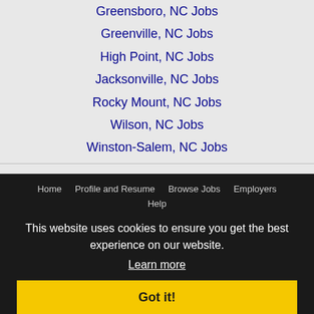Greensboro, NC Jobs
Greenville, NC Jobs
High Point, NC Jobs
Jacksonville, NC Jobs
Rocky Mount, NC Jobs
Wilson, NC Jobs
Winston-Salem, NC Jobs
Home  Profile and Resume  Browse Jobs  Employers  Help  Copyright © 2007 - 2022 Recruiter Media Corporation - Raleigh Jobs
This website uses cookies to ensure you get the best experience on our website.
Learn more
Got it!